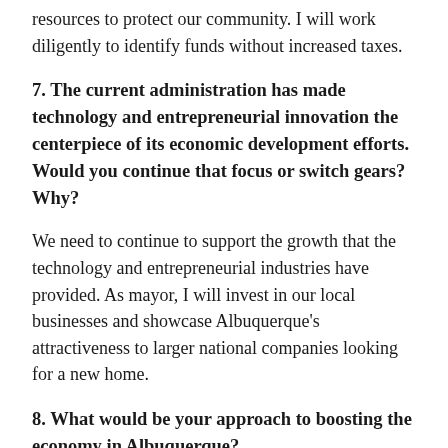resources to protect our community. I will work diligently to identify funds without increased taxes.
7. The current administration has made technology and entrepreneurial innovation the centerpiece of its economic development efforts. Would you continue that focus or switch gears? Why?
We need to continue to support the growth that the technology and entrepreneurial industries have provided. As mayor, I will invest in our local businesses and showcase Albuquerque's attractiveness to larger national companies looking for a new home.
8. What would be your approach to boosting the economy in Albuquerque?